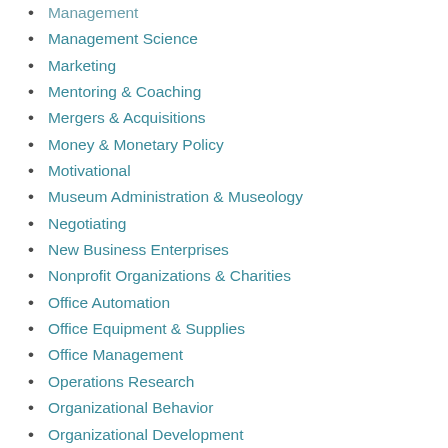Management
Management Science
Marketing
Mentoring & Coaching
Mergers & Acquisitions
Money & Monetary Policy
Motivational
Museum Administration & Museology
Negotiating
New Business Enterprises
Nonprofit Organizations & Charities
Office Automation
Office Equipment & Supplies
Office Management
Operations Research
Organizational Behavior
Organizational Development
Outsourcing
Personal Finance
Personal Success
Production & Operations Management